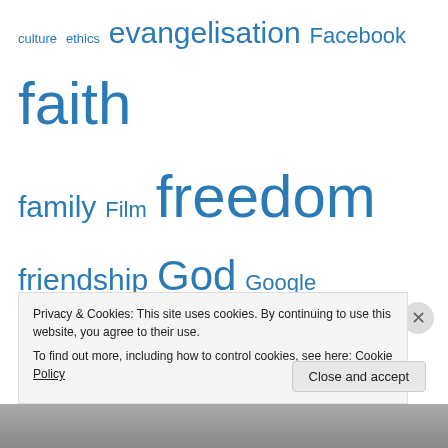[Figure (infographic): Tag cloud with words related to religion, faith, culture, and society in varying sizes. Words include: culture, ethics, evangelisation, Facebook, faith, family, Film, freedom, friendship, God, Google, happiness, hope, internet, Jesus, justice, language, life, London, love, marriage, media, mission, Morality, New Evangelisation, ordination, parenting, parents, peace, personhood, Politics, Pope Benedict, poverty, prayer, priesthood, priests, pro-life, psychology, reading, Relationships, Religion. All words are displayed in blue.]
Privacy & Cookies: This site uses cookies. By continuing to use this website, you agree to their use. To find out more, including how to control cookies, see here: Cookie Policy
Close and accept